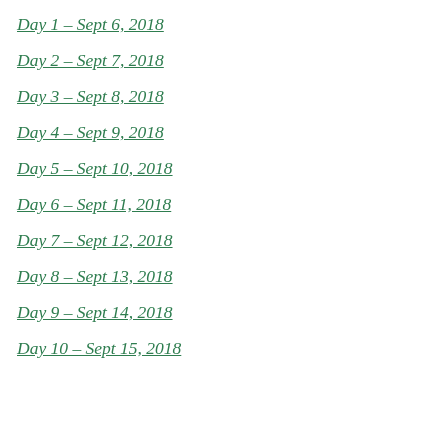Day 1 – Sept 6, 2018
Day 2 – Sept 7, 2018
Day 3 – Sept 8, 2018
Day 4 – Sept 9, 2018
Day 5 – Sept 10, 2018
Day 6 – Sept 11, 2018
Day 7 – Sept 12, 2018
Day 8 – Sept 13, 2018
Day 9 – Sept 14, 2018
Day 10 – Sept 15, 2018